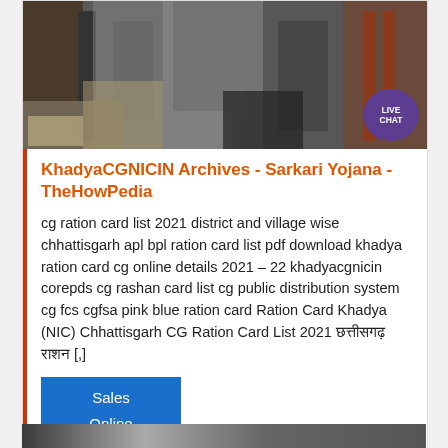[Figure (photo): Industrial/construction site photograph showing machinery and equipment, with a Live Chat badge overlay in the bottom-right corner]
KhadyaCGNICIN Archives - Sarkari Yojana - TheHowPedia
cg ration card list 2021 district and village wise chhattisgarh apl bpl ration card list pdf download khadya ration card cg online details 2021 – 22 khadyacgnicin corepds cg rashan card list cg public distribution system cg fcs cgfsa pink blue ration card Ration Card Khadya (NIC) Chhattisgarh CG Ration Card List 2021 छत्तीसगढ़ राशन [,]
[Figure (screenshot): Blue Sales Online button area]
[Figure (photo): Bottom strip showing partial industrial photograph]